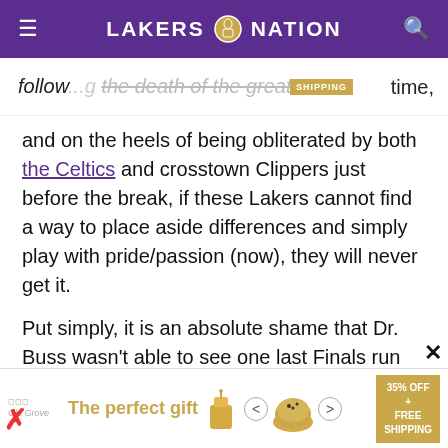LAKERS NATION
following the death of the greatest Laker of all time, and on the heels of being obliterated by both the Celtics and crosstown Clippers just before the break, if these Lakers cannot find a way to place aside differences and simply play with pride/passion (now), they will never get it.
Put simply, it is an absolute shame that Dr. Buss wasn’t able to see one last Finals run prior to passing, and it would be that much worse if this group can’t (at least) find a way to honor Dr. Buss’
[Figure (screenshot): Advertisement banner at the bottom: 'The perfect gift' with food imagery and '35% OFF + FREE SHIPPING' badge]